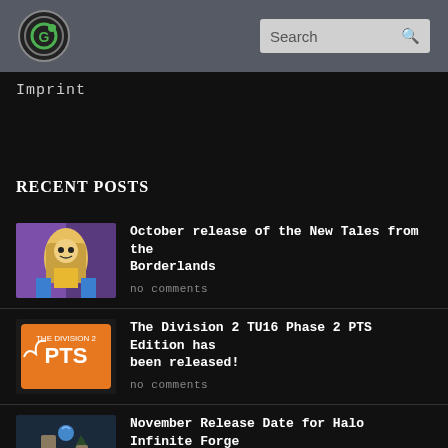Search
Imprint
RECENT POSTS
October release of the New Tales from the Borderlands
no comments
The Division 2 TU16 Phase 2 PTS Edition has been released!
no comments
November Release Date for Halo Infinite Forge Mode – Split-Screen Co-op Cancelled